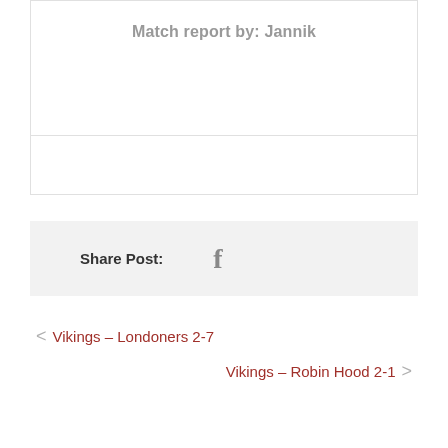Match report by: Jannik
Share Post:
< Vikings – Londoners 2-7
Vikings – Robin Hood 2-1 >